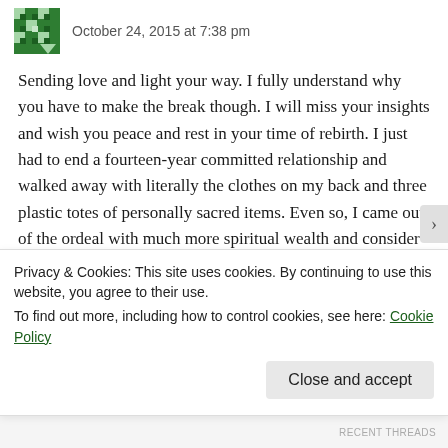October 24, 2015 at 7:38 pm
Sending love and light your way. I fully understand why you have to make the break though. I will miss your insights and wish you peace and rest in your time of rebirth. I just had to end a fourteen-year committed relationship and walked away with literally the clothes on my back and three plastic totes of personally sacred items. Even so, I came out of the ordeal with much more spiritual wealth and consider myself fortunate for the lessons learned and growth along the way. Your insights helped me prepare for these times ahead. The coming storm, once flickering over the horizon like heat
Privacy & Cookies: This site uses cookies. By continuing to use this website, you agree to their use.
To find out more, including how to control cookies, see here: Cookie Policy